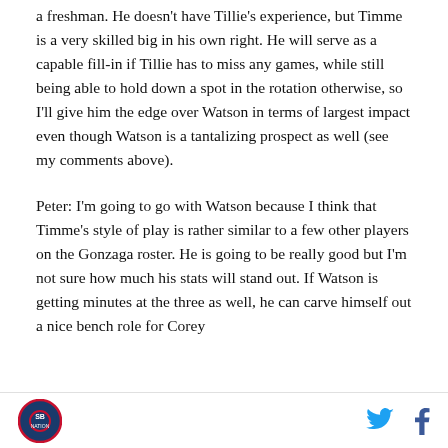a freshman. He doesn't have Tillie's experience, but Timme is a very skilled big in his own right. He will serve as a capable fill-in if Tillie has to miss any games, while still being able to hold down a spot in the rotation otherwise, so I'll give him the edge over Watson in terms of largest impact even though Watson is a tantalizing prospect as well (see my comments above).
Peter: I'm going to go with Watson because I think that Timme's style of play is rather similar to a few other players on the Gonzaga roster. He is going to be really good but I'm not sure how much his stats will stand out. If Watson is getting minutes at the three as well, he can carve himself out a nice bench role for Corey
[Figure (logo): Circular sports team logo with blue and red design]